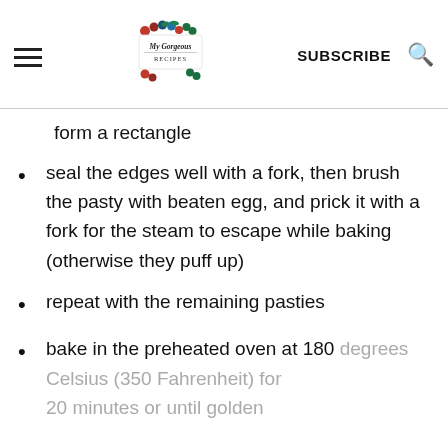My Gorgeous Recipes | SUBSCRIBE
form a rectangle
seal the edges well with a fork, then brush the pasty with beaten egg, and prick it with a fork for the steam to escape while baking (otherwise they puff up)
repeat with the remaining pasties
bake in the preheated oven at 180 degrees Celsius (350 Fahrenheit) for 20 minutes or until golden